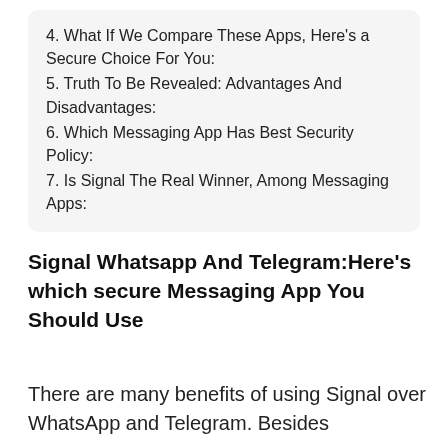4. What If We Compare These Apps, Here’s a Secure Choice For You:
5. Truth To Be Revealed: Advantages And Disadvantages:
6. Which Messaging App Has Best Security Policy:
7. Is Signal The Real Winner, Among Messaging Apps:
Signal Whatsapp And Telegram:Here’s which secure Messaging App You Should Use
There are many benefits of using Signal over WhatsApp and Telegram. Besides